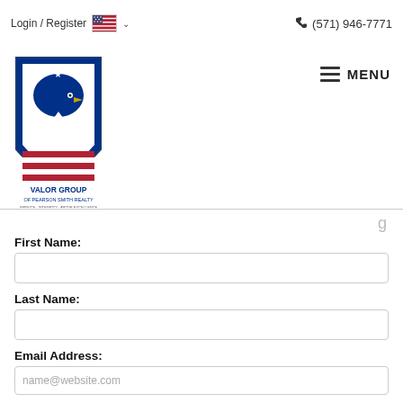Login / Register  🇺🇸 ∨    (571) 946-7771
[Figure (logo): Valor Group of Pearson Smith Realty shield logo with eagle and American flag design]
MENU
First Name:
Last Name:
Email Address:
Phone:
Questions / Comments: